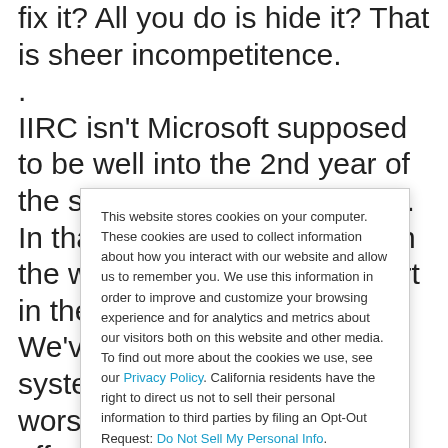fix it? All you do is hide it? That is sheer incompetitence.
.
IIRC isn't Microsoft supposed to be well into the 2nd year of the secured computing initive. In that time period we've seen the worst security on their part in the history of Microsoft. We've seen their patching system go from awful to worse. We've seen them pay off security researchers to not look for new vulns(Thor
This website stores cookies on your computer. These cookies are used to collect information about how you interact with our website and allow us to remember you. We use this information in order to improve and customize your browsing experience and for analytics and metrics about our visitors both on this website and other media. To find out more about the cookies we use, see our Privacy Policy. California residents have the right to direct us not to sell their personal information to third parties by filing an Opt-Out Request: Do Not Sell My Personal Info.
Accept